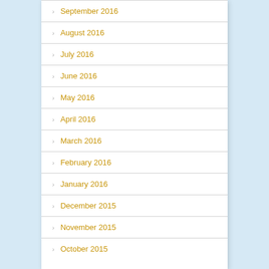September 2016
August 2016
July 2016
June 2016
May 2016
April 2016
March 2016
February 2016
January 2016
December 2015
November 2015
October 2015